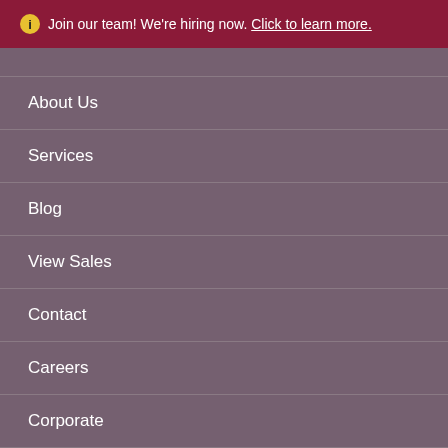Join our team! We're hiring now. Click to learn more.
About Us
Services
Blog
View Sales
Contact
Careers
Corporate
Accessibility
Privacy Policy
[Figure (logo): Facebook social media icon, circular blue button with white 'f' letter]